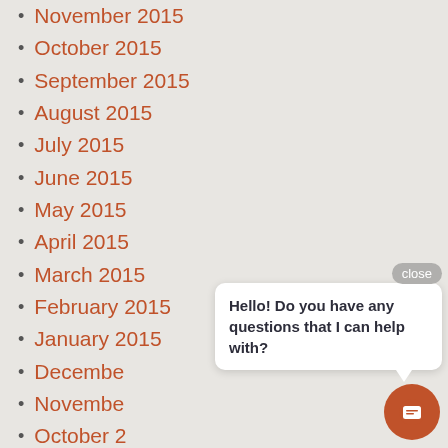November 2015
October 2015
September 2015
August 2015
July 2015
June 2015
May 2015
April 2015
March 2015
February 2015
January 2015
December
November
October 2
September 2014
August 2014
July 2014
June 2014
Hello! Do you have any questions that I can help with?